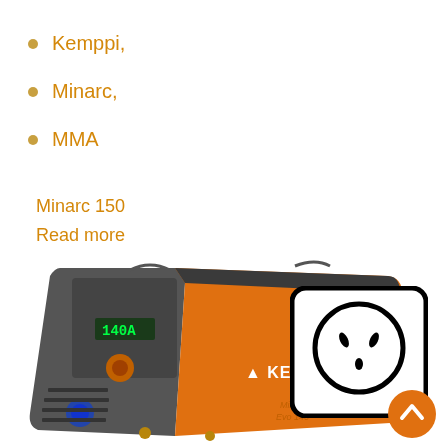Kemppi,
Minarc,
MMA
Minarc 150
Read more
[Figure (photo): Kemppi Minarc welding machine in orange and grey color, showing control panel with digital display reading 140A, knob, and connectors. Brand name KEMPPI visible on side. Model label: Minarc Evo 140. Australian power outlet icon overlaid top right. Scroll-to-top orange circle button bottom right.]